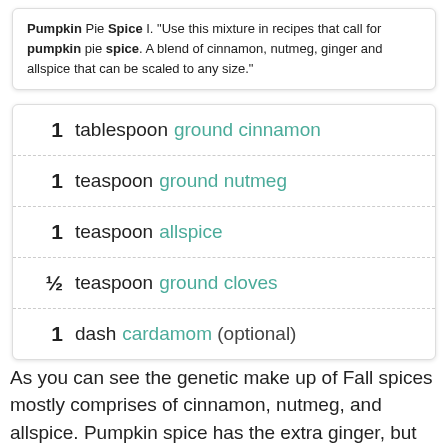Pumpkin Pie Spice I. "Use this mixture in recipes that call for pumpkin pie spice. A blend of cinnamon, nutmeg, ginger and allspice that can be scaled to any size."
1 tablespoon ground cinnamon
1 teaspoon ground nutmeg
1 teaspoon allspice
½ teaspoon ground cloves
1 dash cardamom (optional)
As you can see the genetic make up of Fall spices mostly comprises of cinnamon, nutmeg, and allspice. Pumpkin spice has the extra ginger, but apple comes with ground cloves AND cardamom. In my house hold, extra is always the winner, but ill be generous and say this is a wash because I'm nice like that